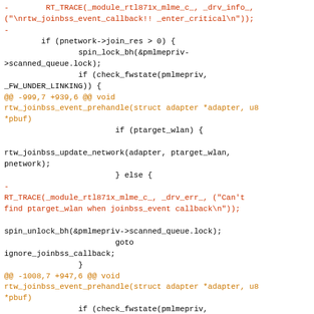[Figure (screenshot): Code diff snippet showing C source code changes with red/deleted lines, blue/context lines, and orange/added lines in a monospace font on white background.]